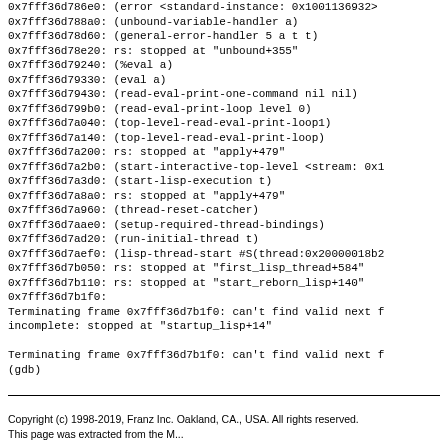0x7fff36d786e0: (error <standard-instance: 0x1001136932>
0x7fff36d788a0: (unbound-variable-handler a)
0x7fff36d78d60: (general-error-handler 5 a t t)
0x7fff36d78e20: rs: stopped at "unbound+355"
0x7fff36d79240: (%eval a)
0x7fff36d79330: (eval a)
0x7fff36d79430: (read-eval-print-one-command nil nil)
0x7fff36d799b0: (read-eval-print-loop level 0)
0x7fff36d7a040: (top-level-read-eval-print-loop1)
0x7fff36d7a140: (top-level-read-eval-print-loop)
0x7fff36d7a200: rs: stopped at "apply+479"
0x7fff36d7a2b0: (start-interactive-top-level <stream: 0x1
0x7fff36d7a3d0: (start-lisp-execution t)
0x7fff36d7a8a0: rs: stopped at "apply+479"
0x7fff36d7a960: (thread-reset-catcher)
0x7fff36d7aae0: (setup-required-thread-bindings)
0x7fff36d7ad20: (run-initial-thread t)
0x7fff36d7aef0: (lisp-thread-start #S(thread:0x20000018b2
0x7fff36d7b050: rs: stopped at "first_lisp_thread+584"
0x7fff36d7b110: rs: stopped at "start_reborn_lisp+140"
0x7fff36d7b1f0:
Terminating frame 0x7fff36d7b1f0: can't find valid next f
incomplete: stopped at "startup_lisp+14"

Terminating frame 0x7fff36d7b1f0: can't find valid next f
(gdb)
Copyright (c) 1998-2019, Franz Inc. Oakland, CA., USA. All rights reserved.
This page was extracted from the M...